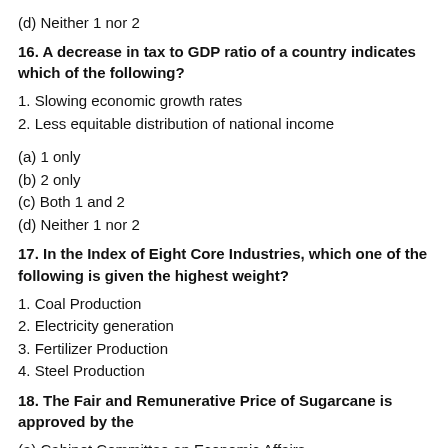(d) Neither 1 nor 2
16. A decrease in tax to GDP ratio of a country indicates which of the following?
1. Slowing economic growth rates
2. Less equitable distribution of national income
(a) 1 only
(b) 2 only
(c) Both 1 and 2
(d) Neither 1 nor 2
17. In the Index of Eight Core Industries, which one of the following is given the highest weight?
1. Coal Production
2. Electricity generation
3. Fertilizer Production
4. Steel Production
18. The Fair and Remunerative Price of Sugarcane is approved by the
(a) Cabinet Committee on Economic Affairs
(b) Commission for Agricultural Costs and Prices